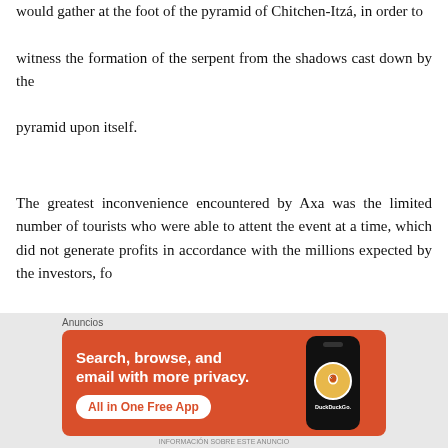would gather at the foot of the pyramid of Chitchen-Itzá, in order to witness the formation of the serpent from the shadows cast down by the pyramid upon itself.
The greatest inconvenience encountered by Axa was the limited number of tourists who were able to attent the event at a time, which did not generate profits in accordance with the millions expected by the investors, fo...
[Figure (other): Advertisement banner for DuckDuckGo: 'Search, browse, and email with more privacy. All in One Free App' with orange background and phone mockup showing DuckDuckGo logo. Labeled 'Anuncios'.]